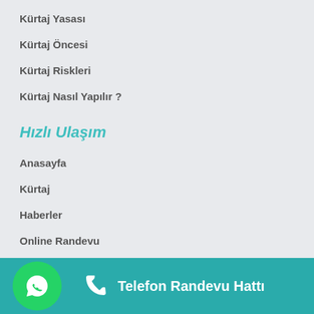Kürtaj Yasası
Kürtaj Öncesi
Kürtaj Riskleri
Kürtaj Nasıl Yapılır ?
Hızlı Ulaşım
Anasayfa
Kürtaj
Haberler
Online Randevu
İletişim
Telefon Randevu Hattı